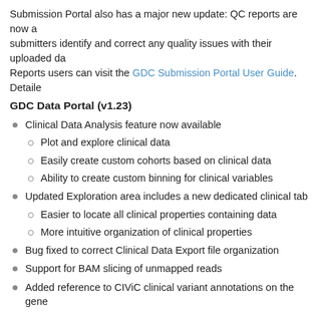Submission Portal also has a major new update: QC reports are now a submitters identify and correct any quality issues with their uploaded da Reports users can visit the GDC Submission Portal User Guide. Detaile
GDC Data Portal (v1.23)
Clinical Data Analysis feature now available
Plot and explore clinical data
Easily create custom cohorts based on clinical data
Ability to create custom binning for clinical variables
Updated Exploration area includes a new dedicated clinical tab
Easier to locate all clinical properties containing data
More intuitive organization of clinical properties
Bug fixed to correct Clinical Data Export file organization
Support for BAM slicing of unmapped reads
Added reference to CIViC clinical variant annotations on the gene
Release Notes
GDC Data Submission Portal (v2.4)
QC Reports added to submission portal allowing users to better id